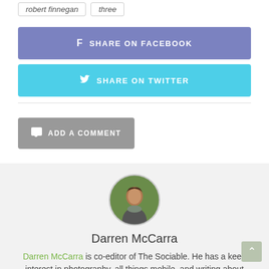robert finnegan | three
SHARE ON FACEBOOK
SHARE ON TWITTER
ADD A COMMENT
[Figure (photo): Circular profile photo of Darren McCarra, a man outdoors with green background]
Darren McCarra
Darren McCarra is co-editor of The Sociable. He has a keen interest in photography, all things mobile, and writing about